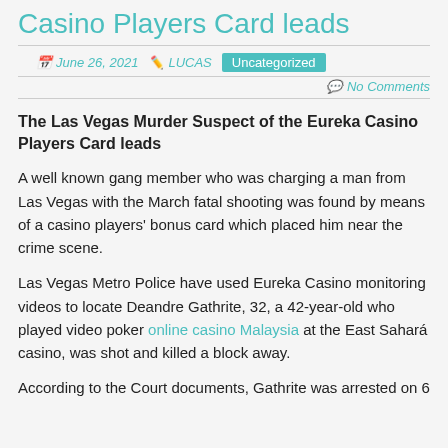Casino Players Card leads
June 26, 2021  LUCAS  Uncategorized  No Comments
The Las Vegas Murder Suspect of the Eureka Casino Players Card leads
A well known gang member who was charging a man from Las Vegas with the March fatal shooting was found by means of a casino players' bonus card which placed him near the crime scene.
Las Vegas Metro Police have used Eureka Casino monitoring videos to locate Deandre Gathrite, 32, a 42-year-old who played video poker online casino Malaysia at the East Sahará casino, was shot and killed a block away.
According to the Court documents, Gathrite was arrested on 6